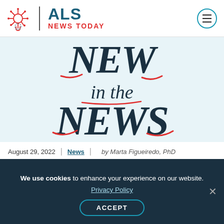ALS NEWS TODAY
[Figure (illustration): New in the News decorative typographic illustration with dark navy and red brush lettering on light blue background]
August 29, 2022 | News | by Marta Figueiredo, PhD
Masitinib Again Under Review in EU as
We use cookies to enhance your experience on our website. Privacy Policy ACCEPT